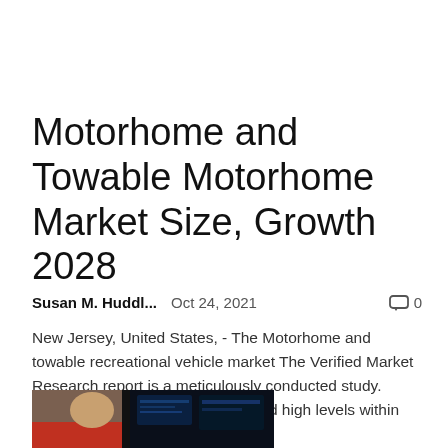Motorhome and Towable Motorhome Market Size, Growth 2028
Susan M. Huddl...    Oct 24, 2021    💬 0
New Jersey, United States, - The Motorhome and towable recreational vehicle market The Verified Market Research report is a meticulously conducted study. Experts with proven credentials and high levels within the research fraternity...
[Figure (photo): Photo of a person in a red shirt viewed from the side, with dark computer screens or displays in the background]